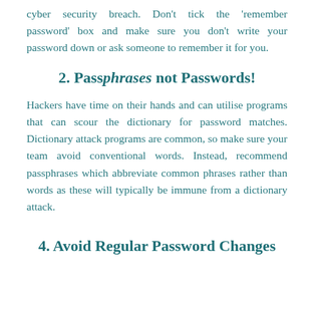cyber security breach. Don't tick the 'remember password' box and make sure you don't write your password down or ask someone to remember it for you.
2. Passphrases not Passwords!
Hackers have time on their hands and can utilise programs that can scour the dictionary for password matches. Dictionary attack programs are common, so make sure your team avoid conventional words. Instead, recommend passphrases which abbreviate common phrases rather than words as these will typically be immune from a dictionary attack.
4. Avoid Regular Password Changes